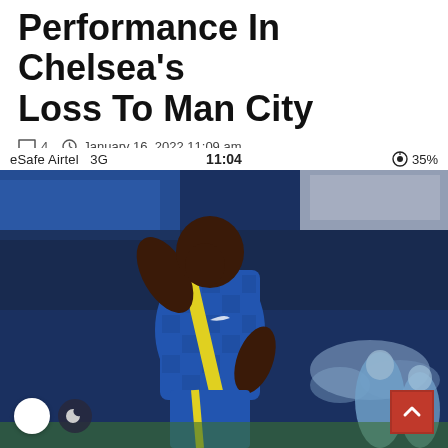Performance In Chelsea's Loss To Man City
4  January 16, 2022 11:09 am
eSafe Airtel  3G    11:04    35%
[Figure (photo): A Chelsea footballer in blue kit with yellow stripe, head bowed down in disappointment, with blurred stadium and crowd in background]